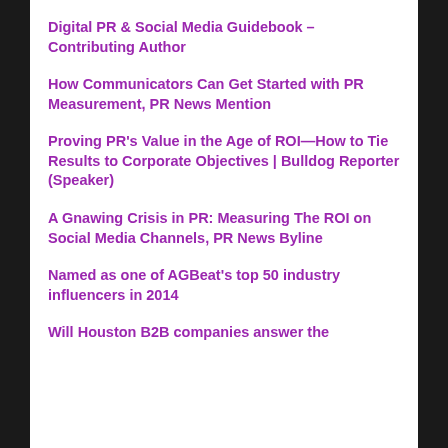Digital PR & Social Media Guidebook – Contributing Author
How Communicators Can Get Started with PR Measurement, PR News Mention
Proving PR's Value in the Age of ROI—How to Tie Results to Corporate Objectives | Bulldog Reporter (Speaker)
A Gnawing Crisis in PR: Measuring The ROI on Social Media Channels, PR News Byline
Named as one of AGBeat's top 50 industry influencers in 2014
Will Houston B2B companies answer the